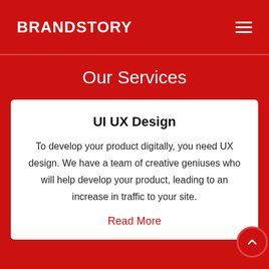BRANDSTORY
Our Services
UI UX Design
To develop your product digitally, you need UX design. We have a team of creative geniuses who will help develop your product, leading to an increase in traffic to your site.
Read More